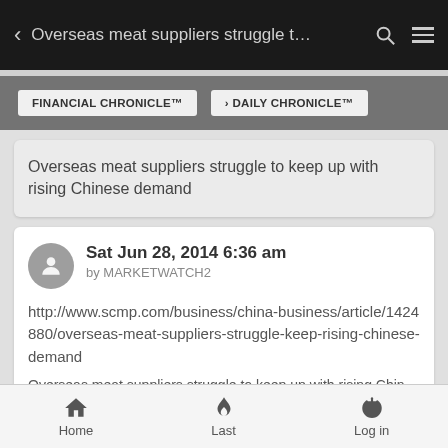Overseas meat suppliers struggle t…
FINANCIAL CHRONICLE™  > DAILY CHRONICLE™
Overseas meat suppliers struggle to keep up with rising Chinese demand
Sat Jun 28, 2014 6:36 am
by MARKETWATCH2
http://www.scmp.com/business/china-business/article/1424880/overseas-meat-suppliers-struggle-keep-rising-chinese-demand
Overseas meat suppliers struggle to keep up with rising Chinese
Home  Last  Log in